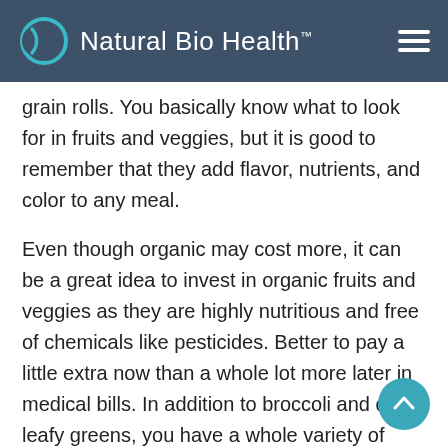Natural Bio Health™
grain rolls. You basically know what to look for in fruits and veggies, but it is good to remember that they add flavor, nutrients, and color to any meal.
Even though organic may cost more, it can be a great idea to invest in organic fruits and veggies as they are highly nutritious and free of chemicals like pesticides. Better to pay a little extra now than a whole lot more later in medical bills. In addition to broccoli and dark leafy greens, you have a whole variety of choices from cauliflower to kale to lettuce to squash to asparagus to papaya to cherries to grapefruit to peaches to pears. The list goes on and on. Take a trip